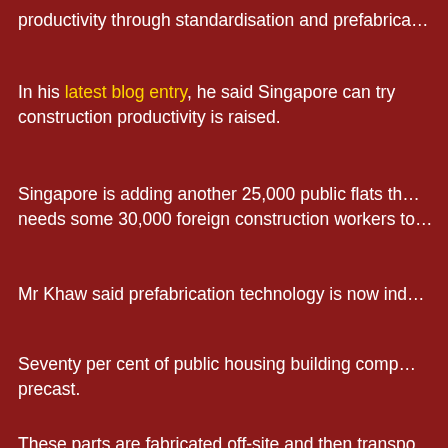productivity through standardisation and prefabrication
In his latest blog entry, he said Singapore can try construction productivity is raised.
Singapore is adding another 25,000 public flats that needs some 30,000 foreign construction workers to
Mr Khaw said prefabrication technology is now ind
Seventy per cent of public housing building components are precast.
These parts are fabricated off-site and then transpo
[Figure (screenshot): Dark video placeholder rectangle at the bottom of the page]